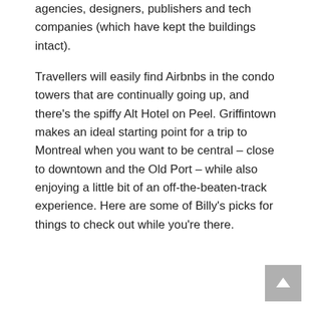agencies, designers, publishers and tech companies (which have kept the buildings intact).
Travellers will easily find Airbnbs in the condo towers that are continually going up, and there's the spiffy Alt Hotel on Peel. Griffintown makes an ideal starting point for a trip to Montreal when you want to be central – close to downtown and the Old Port – while also enjoying a little bit of an off-the-beaten-track experience. Here are some of Billy's picks for things to check out while you're there.